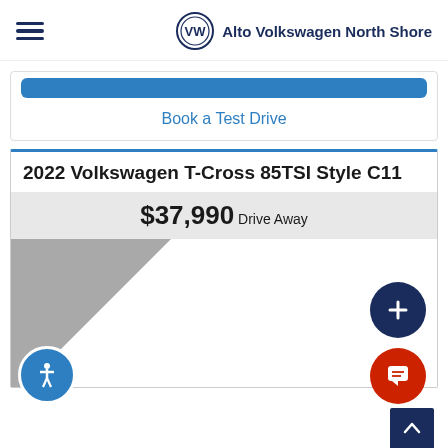Alto Volkswagen North Shore
Book a Test Drive
2022 Volkswagen T-Cross 85TSI Style C11
$37,990 Drive Away
[Figure (infographic): Just Arrived ribbon banner overlaid on car image area]
[Figure (other): Blue circular button with plus icon, red circular chat button, dark blue scroll-to-top button, accessibility icon button]